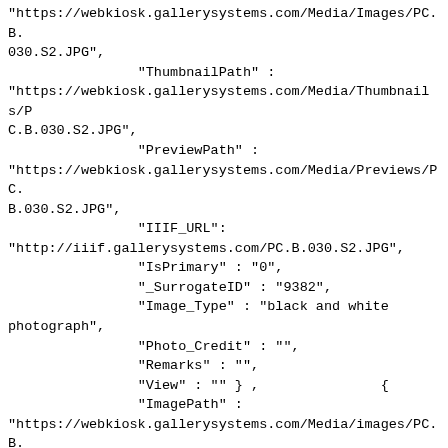"https://webkiosk.gallerysystems.com/Media/Images/PC.B.030.S2.JPG",
                "ThumbnailPath" :
"https://webkiosk.gallerysystems.com/Media/Thumbnails/PC.B.030.S2.JPG",
                "PreviewPath" :
"https://webkiosk.gallerysystems.com/Media/Previews/PC.B.030.S2.JPG",
                "IIIF_URL":
"http://iiif.gallerysystems.com/PC.B.030.S2.JPG",
                "IsPrimary" : "0",
                "_SurrogateID" : "9382",
                "Image_Type" : "black and white photograph",
                "Photo_Credit" : "",
                "Remarks" : "",
                "View" : "" } ,               {
                "ImagePath" :
"https://webkiosk.gallerysystems.com/Media/images/PC.B.030.S1.JPG",
                "ThumbnailPath" :
"https://webkiosk.gallerysystems.com/Media/Thumbnails/PC.B.030.S1.JPG",
                "PreviewPath" :
"https://webkiosk.gallerysystems.com/Media/Previews/PC.B.030.S1.JPG",
                "IIIF_URL":
"http://iiif.gallerysystems.com/PC.B.030.S1.JPG",
                "IsPrimary" : "1",
                "_SurrogateID" : "19224",
                "Image_Type" : ""